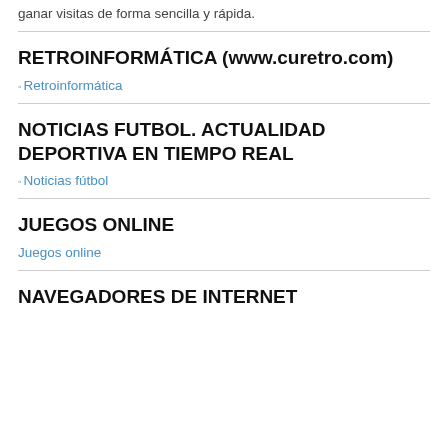ganar visitas de forma sencilla y rápida.
RETROINFORMÁTICA (www.curetro.com)
◦Retroinformática
NOTICIAS FUTBOL. ACTUALIDAD DEPORTIVA EN TIEMPO REAL
◦Noticias fútbol
JUEGOS ONLINE
Juegos online
NAVEGADORES DE INTERNET